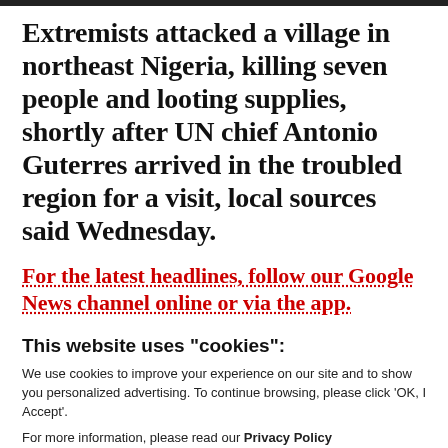Extremists attacked a village in northeast Nigeria, killing seven people and looting supplies, shortly after UN chief Antonio Guterres arrived in the troubled region for a visit, local sources said Wednesday.
For the latest headlines, follow our Google News channel online or via the app.
This website uses "cookies":
We use cookies to improve your experience on our site and to show you personalized advertising. To continue browsing, please click 'OK, I Accept'.
For more information, please read our Privacy Policy
Ok, I Accept